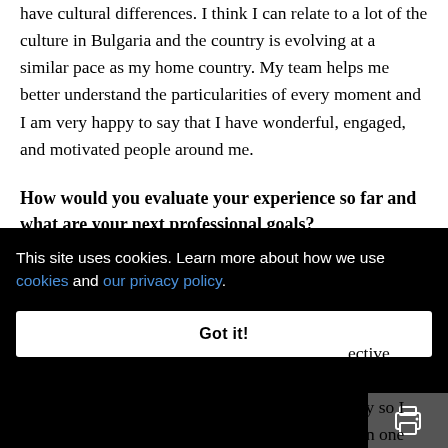have cultural differences. I think I can relate to a lot of the culture in Bulgaria and the country is evolving at a similar pace as my home country. My team helps me better understand the particularities of every moment and I am very happy to say that I have wonderful, engaged, and motivated people around me.
How would you evaluate your experience so far and what are your next professional goals?
My experience so far allowed me to understand the retail [business from an end-to-end perspec]tive, [which helped me appreci]ate [the role of technol]ogy so I [could be involv]ed in one
This site uses cookies. Learn more about how we use cookies and our privacy policy.
Got it!